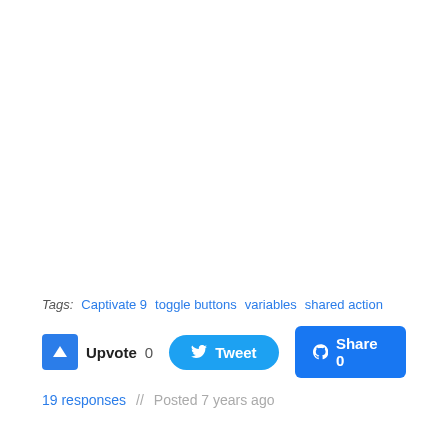Tags: Captivate 9  toggle buttons  variables  shared action
Upvote 0   Tweet   Share 0
19 responses  //  Posted 7 years ago